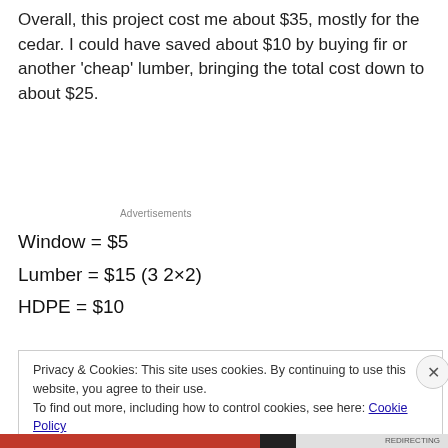Overall, this project cost me about $35, mostly for the cedar. I could have saved about $10 by buying fir or another 'cheap' lumber, bringing the total cost down to about $25.
Advertisements
Window = $5
Lumber = $15 (3 2×2)
HDPE = $10
Privacy & Cookies: This site uses cookies. By continuing to use this website, you agree to their use.
To find out more, including how to control cookies, see here: Cookie Policy